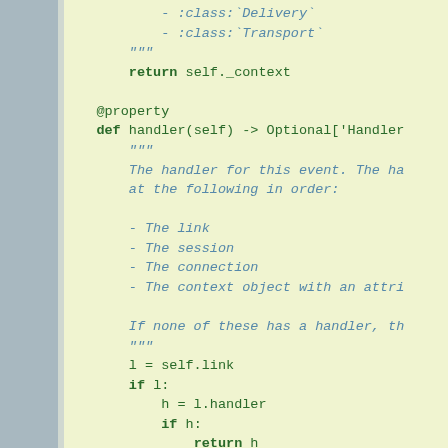[Figure (screenshot): Python source code snippet showing a property method 'handler' with docstring listing lookup order (link, session, connection, context object), followed by implementation code checking l=self.link, s=self.session with nested if/return statements.]